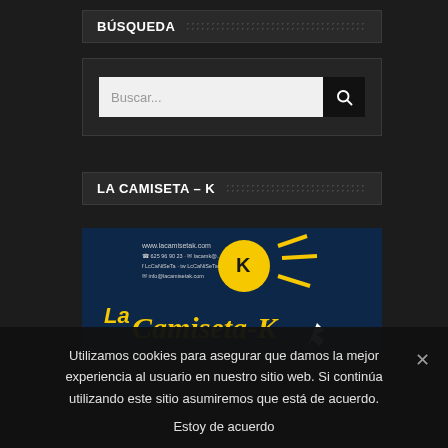BÚSQUEDA
[Figure (screenshot): Search input box with placeholder 'Buscar...' and a dark search button with magnifying glass icon]
LA CAMISETA – K
[Figure (photo): La Camiseta-K brand advertisement image on dark blue background with yellow logo and text]
Utilizamos cookies para asegurar que damos la mejor experiencia al usuario en nuestro sitio web. Si continúa utilizando este sitio asumiremos que está de acuerdo.
Estoy de acuerdo